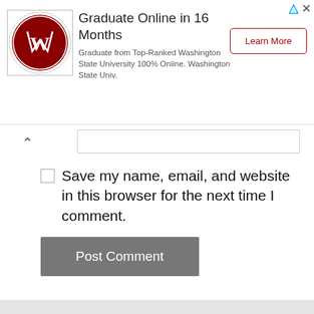[Figure (infographic): Advertisement banner for Washington State University online program. Shows WSU logo, title 'Graduate Online in 16 Months', description text, and a 'Learn More' button.]
Save my name, email, and website in this browser for the next time I comment.
Post Comment
Recent Posts
It Starts with Us PDF